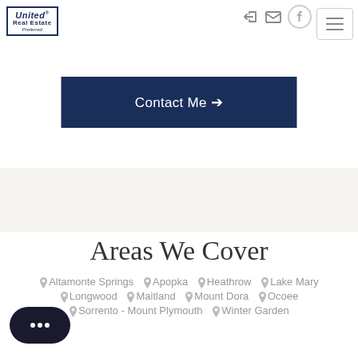United Real Estate Preferred — navigation header with icons and hamburger menu
Contact Me →
Areas We Cover
Altamonte Springs
Apopka
Heathrow
Lake Mary
Longwood
Maitland
Mount Dora
Ocoee
Sorrento - Mount Plymouth
Winter Garden